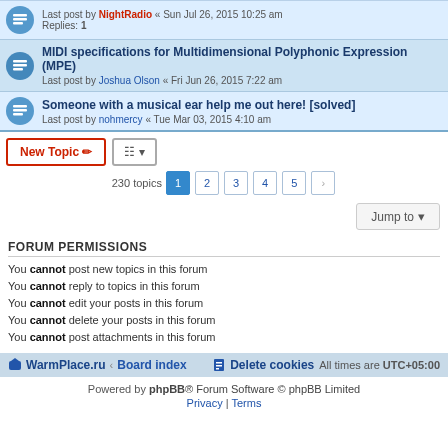Last post by NightRadio « Sun Jul 26, 2015 10:25 am
Replies: 1
MIDI specifications for Multidimensional Polyphonic Expression (MPE)
Last post by Joshua Olson « Fri Jun 26, 2015 7:22 am
Someone with a musical ear help me out here! [solved]
Last post by nohmercy « Tue Mar 03, 2015 4:10 am
New Topic    230 topics  1 2 3 4 5 >
Jump to
FORUM PERMISSIONS
You cannot post new topics in this forum
You cannot reply to topics in this forum
You cannot edit your posts in this forum
You cannot delete your posts in this forum
You cannot post attachments in this forum
WarmPlace.ru · Board index   Delete cookies  All times are UTC+05:00
Powered by phpBB® Forum Software © phpBB Limited
Privacy | Terms